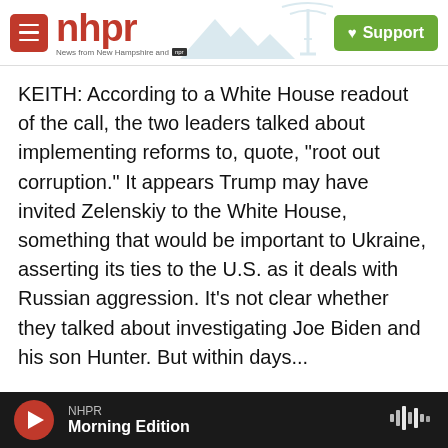nhpr - News from New Hampshire and NPR | Support
KEITH: According to a White House readout of the call, the two leaders talked about implementing reforms to, quote, "root out corruption." It appears Trump may have invited Zelenskiy to the White House, something that would be important to Ukraine, asserting its ties to the U.S. as it deals with Russian aggression. It's not clear whether they talked about investigating Joe Biden and his son Hunter. But within days...
(SOUNDBITE OF TV SHOW, "FOX & FRIENDS")
RUDY GIULIANI: And I ask you to keep your eye on
NHPR Morning Edition